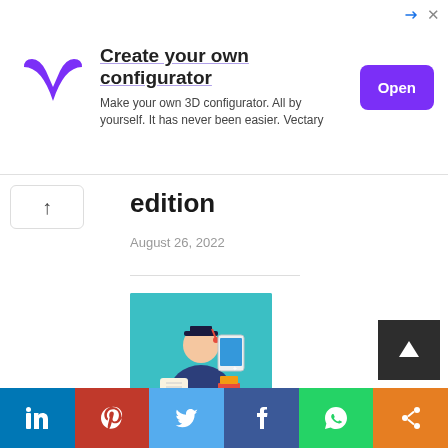[Figure (infographic): Advertisement banner for Vectary 3D configurator with purple logo, bold headline 'Create your own configurator', subtext 'Make your own 3D configurator. All by yourself. It has never been easier. Vectary', and a purple 'Open' button.]
edition
August 26, 2022
[Figure (illustration): Illustration of a graduate student in cap and gown surrounded by education technology icons including a tablet, books, diploma, and digital elements on a teal background.]
Guidelines For Young Children Using Education Technology
[Figure (infographic): Social media sharing bar with LinkedIn, Pinterest, Twitter, Facebook, WhatsApp, and Share buttons.]